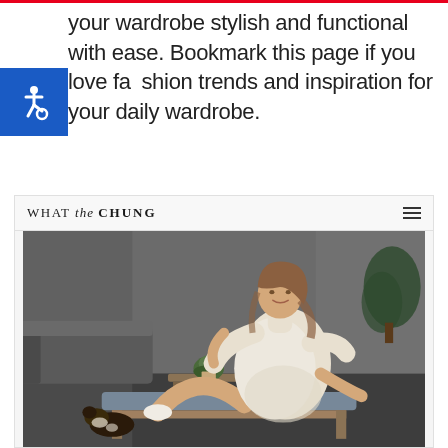your wardrobe stylish and functional with ease. Bookmark this page if you love fashion trends and inspiration for your daily wardrobe.
[Figure (screenshot): Screenshot of 'WHAT the CHUNG' fashion blog website showing a woman in a cream oversized sweater dress and white socks sitting on a bench with a small dog nearby]